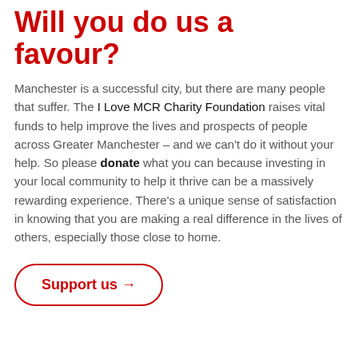Will you do us a favour?
Manchester is a successful city, but there are many people that suffer. The I Love MCR Charity Foundation raises vital funds to help improve the lives and prospects of people across Greater Manchester – and we can't do it without your help. So please donate what you can because investing in your local community to help it thrive can be a massively rewarding experience. There's a unique sense of satisfaction in knowing that you are making a real difference in the lives of others, especially those close to home.
Support us →